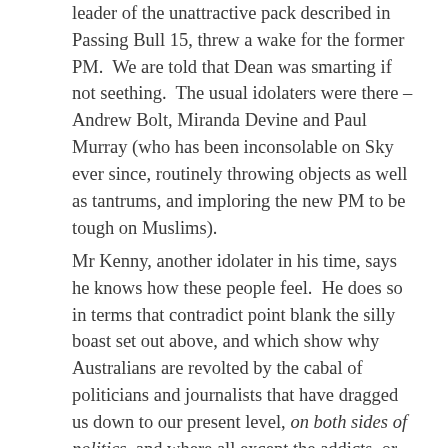leader of the unattractive pack described in Passing Bull 15, threw a wake for the former PM.  We are told that Dean was smarting if not seething.  The usual idolaters were there – Andrew Bolt, Miranda Devine and Paul Murray (who has been inconsolable on Sky ever since, routinely throwing objects as well as tantrums, and imploring the new PM to be tough on Muslims).
Mr Kenny, another idolater in his time, says he knows how these people feel.  He does so in terms that contradict point blank the silly boast set out above, and which show why Australians are revolted by the cabal of politicians and journalists that have dragged us down to our present level, on both sides of politics, and where all except the addicts, or those who profit from or traffic in the addiction, are praying for relief, if not enlightenment from a mix of the Wars of the Roses and a New Dark